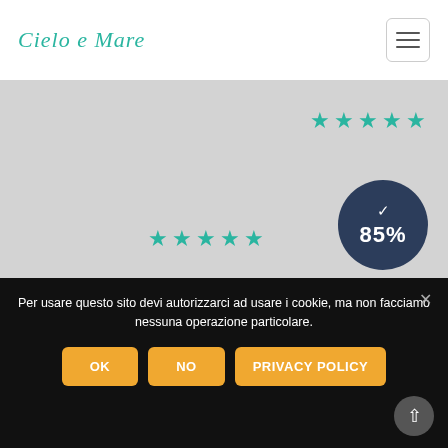[Figure (logo): Cielo e Mare script logo in teal/turquoise cursive font]
[Figure (screenshot): Hamburger menu icon (three horizontal lines) inside a rounded rectangle border]
[Figure (infographic): Light gray hero area with 5 teal stars at top right, a dark navy circular badge showing a checkmark and '85%', and 5 teal stars at bottom right]
Per usare questo sito devi autorizzarci ad usare i cookie, ma non facciamo nessuna operazione particolare.
OK
NO
PRIVACY POLICY